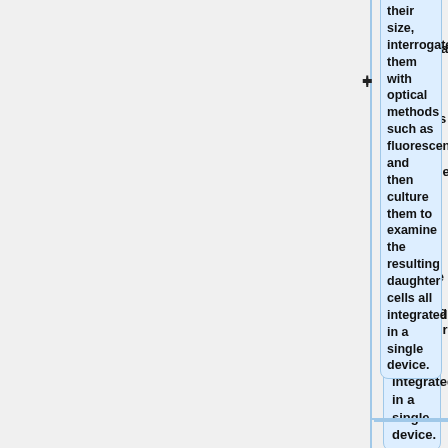their size, interrogate them with optical methods such as fluorescence, and then culture them to examine the resulting daughter cells all integrated in a single device.
This can also be used to create parallel monodisperse flows of particles.